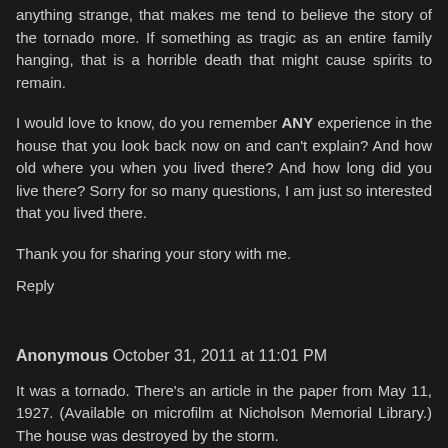anything strange, that makes me tend to believe the story of the tornado more. If something as tragic as an entire family hanging, that is a horrible death that might cause spirits to remain.
I would love to know, do you remember ANY experience in the house that you look back now on and can't explain? And how old where you when you lived there? And how long did you live there? Sorry for so many questions, I am just so interested that you lived there.
Thank you for sharing your story with me.
Reply
Anonymous October 31, 2011 at 11:01 PM
It was a tornado. There's an article in the paper from May 11, 1927. (Available on microfilm at Nicholson Memorial Library.) The house was destroyed by the storm.